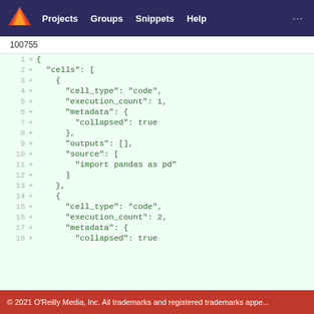Projects   Groups   Snippets   Help
100755
[Figure (screenshot): GitLab diff view showing addition of JSON content with line numbers 1-18, including cells array with cell_type, execution_count, metadata, outputs, and source fields]
© 2021 O'Reilly Media, Inc. All trademarks and registered trademarks appe...